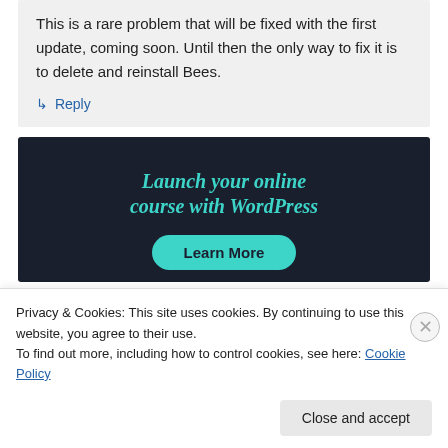This is a rare problem that will be fixed with the first update, coming soon. Until then the only way to fix it is to delete and reinstall Bees.
↳ Reply
[Figure (infographic): Dark banner advertisement: 'Launch your online course with WordPress' with a teal 'Learn More' button on dark navy background]
Privacy & Cookies: This site uses cookies. By continuing to use this website, you agree to their use. To find out more, including how to control cookies, see here: Cookie Policy
Close and accept